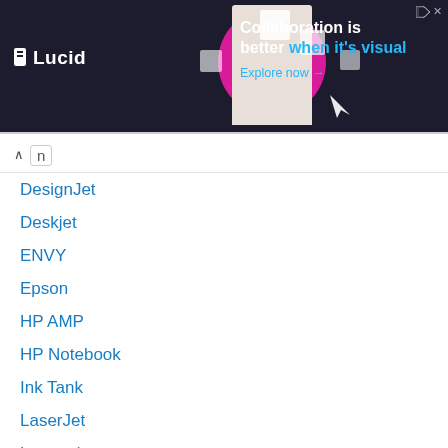[Figure (screenshot): Lucid advertisement banner with dark background, showing a woman at a desk with floating paper squares, pink circular background. Text reads 'Collaboration is better when it's visual' with 'Explore now →' link and Lucid logo.]
n
DesignJet
Deskjet
ENVY
Epson
HP AMP
HP Notebook
Ink Tank
LaserJet
Lexmark
Logitech
Officejet
PageWide
Photosmart